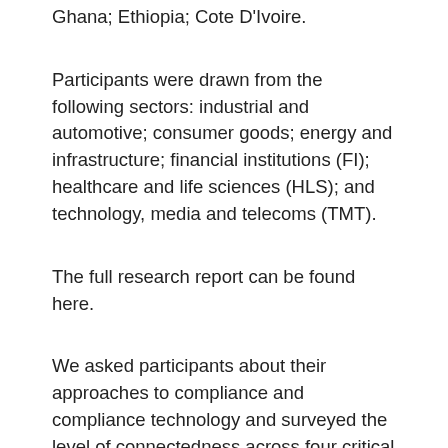Ghana; Ethiopia; Cote D'Ivoire.
Participants were drawn from the following sectors: industrial and automotive; consumer goods; energy and infrastructure; financial institutions (FI); healthcare and life sciences (HLS); and technology, media and telecoms (TMT).
The full research report can be found here.
We asked participants about their approaches to compliance and compliance technology and surveyed the level of connectedness across four critical dimensions:
Collaborative: Compliance is integrated with and understood by the rest of the organization.
Agile: Complex regulation can be addressed